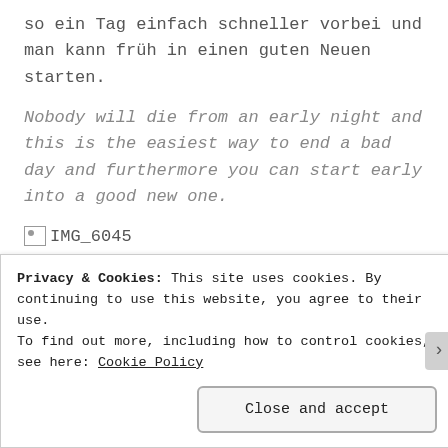so ein Tag einfach schneller vorbei und man kann früh in einen guten Neuen starten.
Nobody will die from an early night and this is the easiest way to end a bad day and furthermore you can start early into a good new one.
[Figure (other): Broken image placeholder labeled IMG_6045]
Advertisements
[Figure (other): Dark advertisement banner]
Privacy & Cookies: This site uses cookies. By continuing to use this website, you agree to their use. To find out more, including how to control cookies, see here: Cookie Policy
Close and accept